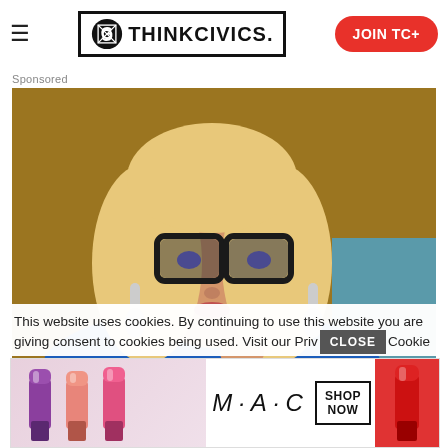ThinkCivics. | JOIN TC+
Sponsored
[Figure (photo): A blonde woman wearing large black-framed glasses and dangling earrings, dressed in a blue top, gesturing with her hands in front of a warm brown/teal background.]
This website uses cookies. By continuing to use this website you are giving consent to cookies being used. Visit our Privacy Cookie
[Figure (advertisement): M·A·C cosmetics advertisement showing lipsticks in purple, pink, and red shades with MAC logo, SHOP NOW button box, and red lipstick on the right side.]